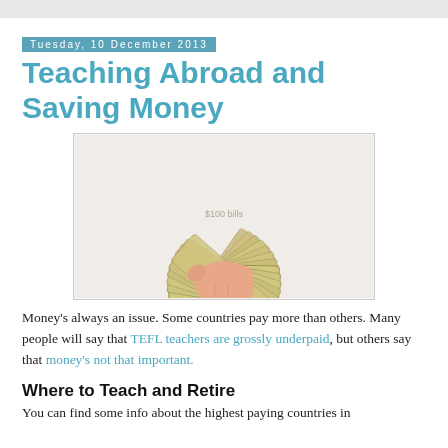Tuesday, 10 December 2013
Teaching Abroad and Saving Money
[Figure (photo): A hand holding a large fan of US $100 dollar bills spread out like a fan against a white background.]
Money's always an issue. Some countries pay more than others. Many people will say that TEFL teachers are grossly underpaid, but others say that money's not that important.
Where to Teach and Retire
You can find some info about the highest paying countries in